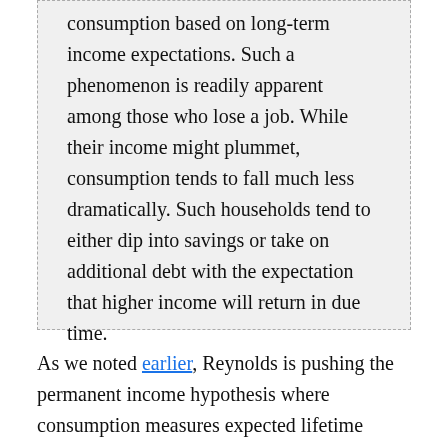consumption based on long-term income expectations. Such a phenomenon is readily apparent among those who lose a job. While their income might plummet, consumption tends to fall much less dramatically. Such households tend to either dip into savings or take on additional debt with the expectation that higher income will return in due time.
As we noted earlier, Reynolds is pushing the permanent income hypothesis where consumption measures expected lifetime income. But Wirtz later notes another possibility that we have discussed